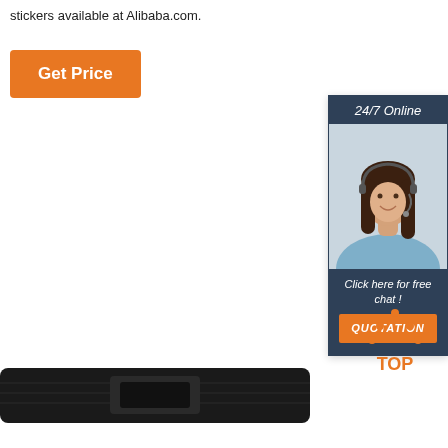stickers available at Alibaba.com.
[Figure (other): Orange 'Get Price' button]
[Figure (other): 24/7 Online chat widget with customer service representative photo, 'Click here for free chat!' text, and orange QUOTATION button]
[Figure (logo): Orange dotted triangle TOP logo]
[Figure (photo): Dark colored product photo (strap/buckle) at bottom of page]